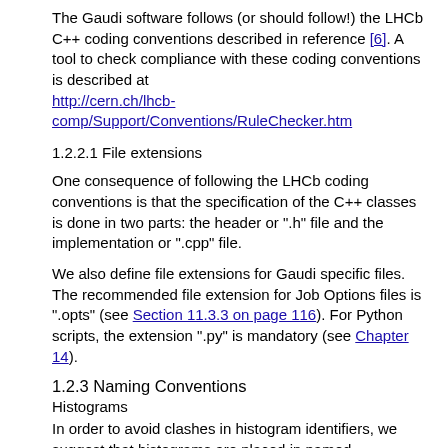The Gaudi software follows (or should follow!) the LHCb C++ coding conventions described in reference [6]. A tool to check compliance with these coding conventions is described at http://cern.ch/lhcb-comp/Support/Conventions/RuleChecker.htm
1.2.2.1 File extensions
One consequence of following the LHCb coding conventions is that the specification of the C++ classes is done in two parts: the header or ".h" file and the implementation or ".cpp" file.
We also define file extensions for Gaudi specific files. The recommended file extension for Job Options files is ".opts" (see Section 11.3.3 on page 116). For Python scripts, the extension ".py" is mandatory (see Chapter 14).
1.2.3 Naming Conventions
Histograms
In order to avoid clashes in histogram identifiers, we suggest that histograms are placed in named subdirectories of the transient histogram store. The top level subdirectory should be the name of a sub-detector group (e.g. VELO). Below